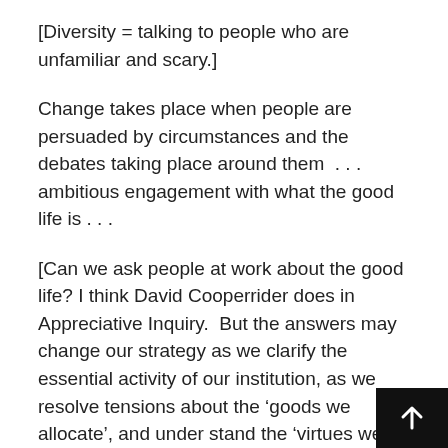[Diversity = talking to people who are unfamiliar and scary.]
Change takes place when people are persuaded by circumstances and the debates taking place around them . . . ambitious engagement with what the good life is . . .
[Can we ask people at work about the good life? I think David Cooperrider does in Appreciative Inquiry.  But the answers may change our strategy as we clarify the essential activity of our institution, as we resolve tensions about the ‘goods we allocate’, and under stand the ‘virtues we celebrate honor and reward.’  And this discussion is ongoing because we don’t know what the next discussion will reveal.  So we need an organizational design – itself subject to deba– which allows us to clarify and act – clarify and